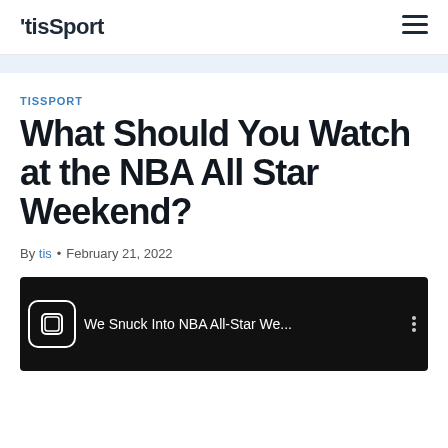'tisSport
TISSPORT
What Should You Watch at the NBA All Star Weekend?
By tis • February 21, 2022
[Figure (screenshot): Video thumbnail showing 'We Snuck Into NBA All-Star We...' with a watch icon on black background]